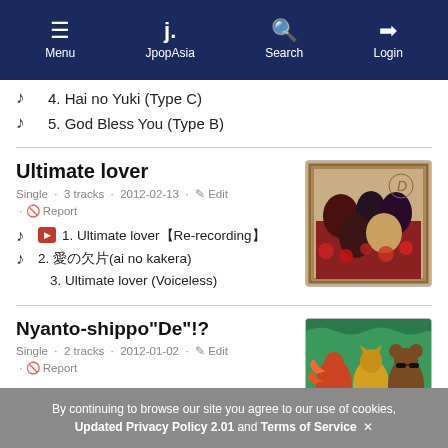Menu | JpopAsia | Search | Login
4. Hai no Yuki (Type C)
5. God Bless You (Type B)
Ultimate lover
Single · 3 tracks · 2012-02-13 · Edit · Report
1. Ultimate lover【Re-recording】
2. 愛の欠片（ai no kakera)
3. Ultimate lover (Voiceless)
[Figure (photo): Album cover for Ultimate lover by D, showing band members with roses]
Nyanto-shippo"De"!?
Single · 2 tracks · 2012-01-02 · Edit · Report
1. Nyanto-shippo"De"!?
[Figure (photo): Album cover for Nyanto-shippo De!? showing cartoon animal characters]
By continuing to browse our site you agree to our use of cookies, Updated Privacy Policy 2.01 and Terms of Service ✕